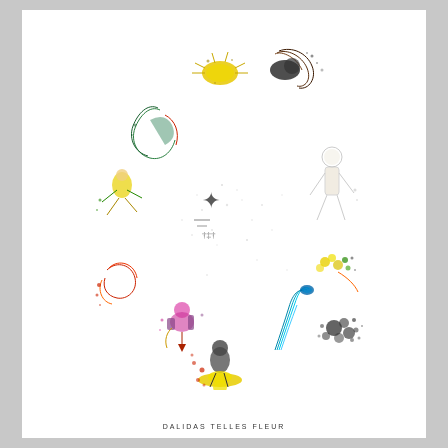[Figure (illustration): A circular arrangement of colorful surrealist figures and creatures forming a ring or wreath on white background. The figures include fantastical human and animal forms rendered in an expressive, splattered ink style with vivid colors including red, yellow, green, blue, cyan, orange, and pink. A central symbol resembling a cross or asterisk appears in the middle of the ring. The composition suggests zodiac or astrological themes.]
DALIDAS TELLES FLEUR